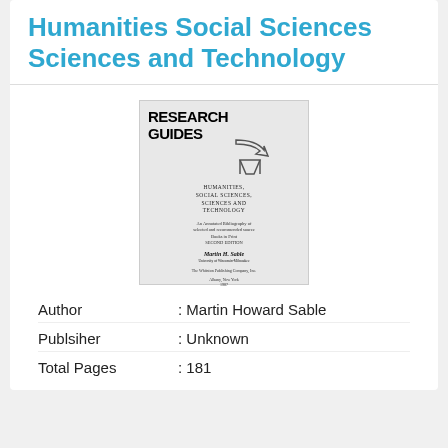Humanities Social Sciences Sciences and Technology
[Figure (illustration): Book cover of Research Guides on the Humanities, Social Sciences, Sciences and Technology by Martin H. Sable]
Author : Martin Howard Sable
Publsiher : Unknown
Total Pages : 181